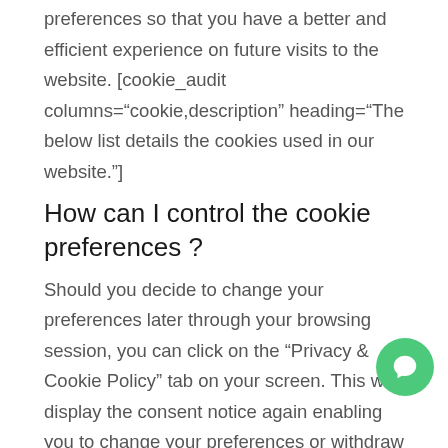preferences so that you have a better and efficient experience on future visits to the website. [cookie_audit columns="cookie,description" heading="The below list details the cookies used in our website."]
How can I control the cookie preferences ?
Should you decide to change your preferences later through your browsing session, you can click on the “Privacy & Cookie Policy” tab on your screen. This will display the consent notice again enabling you to change your preferences or withdraw your consent entirely